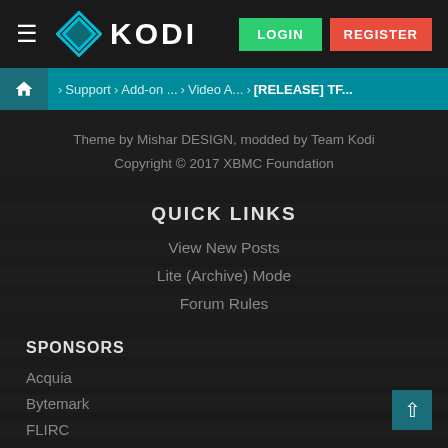KODI — LOGIN REGISTER
≡  ✦ KODI   LOGIN  REGISTER
🏠 > Support > Add-on ... > Video A... > [RELEASE] TF...
Theme by Mishar DESIGN, modded by Team Kodi
Copyright © 2017 XBMC Foundation
QUICK LINKS
View New Posts
Lite (Archive) Mode
Forum Rules
SPONSORS
Acquia
Bytemark
FLIRC
ABOUT KODI